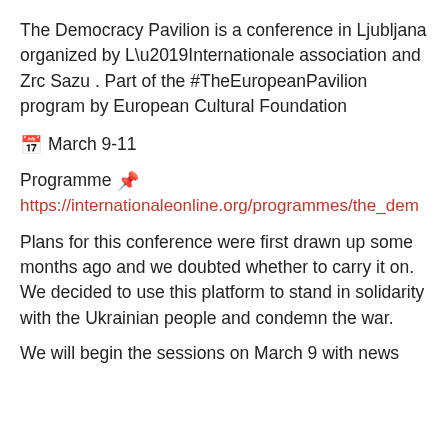The Democracy Pavilion is a conference in Ljubljana organized by L’Internationale association and Zrc Sazu . Part of the #TheEuropeanPavilion program by European Cultural Foundation
📅 March 9-11
Programme 📌
https://internationaleonline.org/programmes/the_dem
Plans for this conference were first drawn up some months ago and we doubted whether to carry it on. We decided to use this platform to stand in solidarity with the Ukrainian people and condemn the war.
We will begin the sessions on March 9 with news